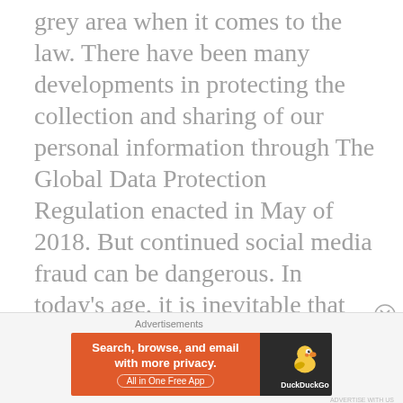grey area when it comes to the law. There have been many developments in protecting the collection and sharing of our personal information through The Global Data Protection Regulation enacted in May of 2018. But continued social media fraud can be dangerous. In today's age, it is inevitable that our social media posts, followings and pictures are a reflection of our values often evaluated by our friends, co-workers and employers.
Advertisements
[Figure (infographic): DuckDuckGo advertisement banner. Left side: orange background with text 'Search, browse, and email with more privacy. All in One Free App'. Right side: dark background with DuckDuckGo duck logo and 'DuckDuckGo' text.]